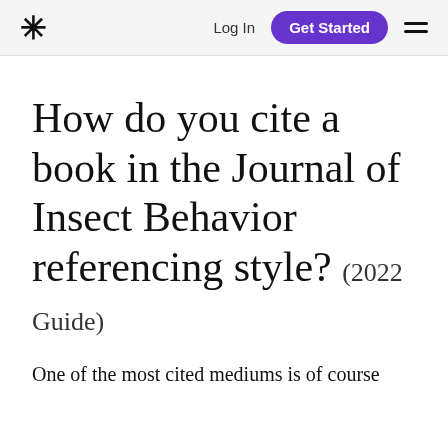* Log In Get Started ☰
How do you cite a book in the Journal of Insect Behavior referencing style? (2022 Guide)
One of the most cited mediums is of course